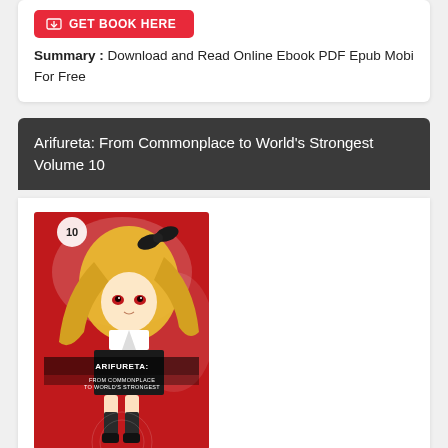[Figure (other): Red GET BOOK HERE button with download icon]
Summary : Download and Read Online Ebook PDF Epub Mobi For Free
Arifureta: From Commonplace to World's Strongest Volume 10
[Figure (illustration): Book cover of Arifureta: From Commonplace to World's Strongest Volume 10, showing an anime-style blonde girl with a black bow in her hair, wearing a black school uniform, with red and white background. The number 10 appears in a circle at top. The title ARIFURETA: FROM COMMONPLACE TO WORLD'S STRONGEST is displayed prominently.]